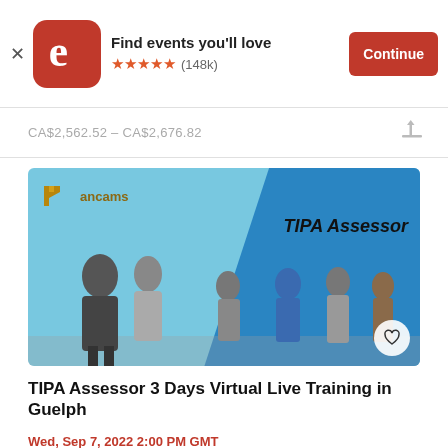[Figure (screenshot): Eventbrite app banner with logo, 'Find events you'll love' text, 5-star rating (148k reviews), and orange Continue button]
CA$2,562.52 – CA$2,676.82
[Figure (photo): TIPA Assessor training banner image showing group of professionals walking, with Mancans logo and TIPA logo, text 'TIPA Assessor' on blue background]
TIPA Assessor 3 Days Virtual Live Training in Guelph
Wed, Sep 7, 2022 2:00 PM GMT